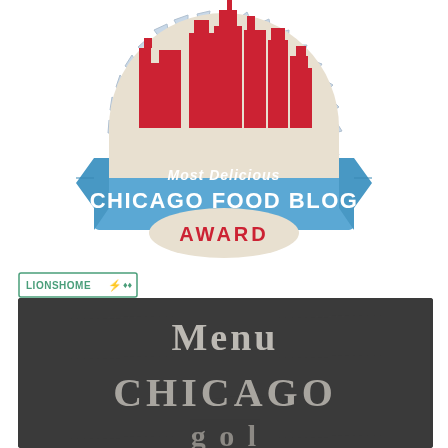[Figure (logo): Most Delicious Chicago Food Blog Award badge/seal with blue ribbon banner, red Chicago skyline silhouette on a beige circle, and text reading 'Most Delicious CHICAGO FOOD BLOG AWARD']
[Figure (logo): LIONSHOME badge with teal/green border and small icon]
[Figure (photo): Dark chalkboard background image with chalk-style text reading 'Menu' and 'CHICAGO' and partial text below]